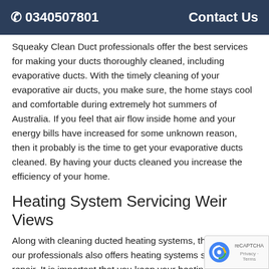☎ 0340507801   Contact Us
Squeaky Clean Duct professionals offer the best services for making your ducts thoroughly cleaned, including evaporative ducts. With the timely cleaning of your evaporative air ducts, you make sure, the home stays cool and comfortable during extremely hot summers of Australia. If you feel that air flow inside home and your energy bills have increased for some unknown reason, then it probably is the time to get your evaporative ducts cleaned. By having your ducts cleaned you increase the efficiency of your home.
Heating System Servicing Weir Views
Along with cleaning ducted heating systems, the team of our professionals also offers heating systems servic and repair. It is important that you keep your heatin system maintained and serviced for the proper functioning